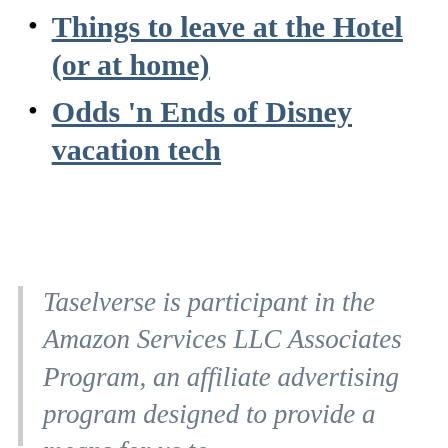Things to leave at the Hotel (or at home)
Odds 'n Ends of Disney vacation tech
Taselverse is participant in the Amazon Services LLC Associates Program, an affiliate advertising program designed to provide a means for us to